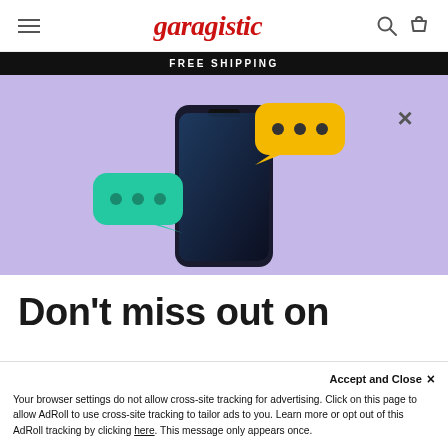garagistic
FREE SHIPPING
[Figure (illustration): Promotional popup illustration showing a smartphone with two chat bubble icons (yellow and teal/green) on a purple/lavender background, with a close X button in the top right]
Don't miss out on
Accept and Close ×
Your browser settings do not allow cross-site tracking for advertising. Click on this page to allow AdRoll to use cross-site tracking to tailor ads to you. Learn more or opt out of this AdRoll tracking by clicking here. This message only appears once.